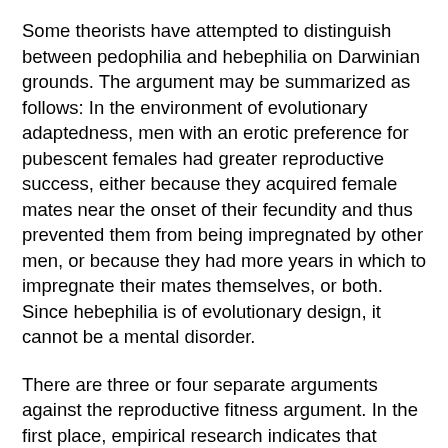Some theorists have attempted to distinguish between pedophilia and hebephilia on Darwinian grounds. The argument may be summarized as follows: In the environment of evolutionary adaptedness, men with an erotic preference for pubescent females had greater reproductive success, either because they acquired female mates near the onset of their fecundity and thus prevented them from being impregnated by other men, or because they had more years in which to impregnate their mates themselves, or both. Since hebephilia is of evolutionary design, it cannot be a mental disorder.
There are three or four separate arguments against the reproductive fitness argument. In the first place, empirical research indicates that (heterosexual) hebephiles produce fewer offspring, not more. Blanchard (2010) compared the mean numbers of biological children reported by 818 heterosexual teleiophiles (men most attracted to physically mature women), 622 heterosexual hebephiles, and 129 heterosexual pedophiles. The teleiophiles had significantly more children than the hebephiles, and the hebephiles had